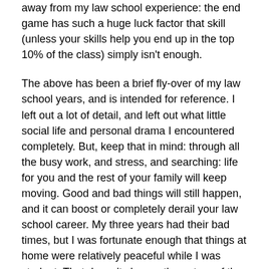away from my law school experience: the end game has such a huge luck factor that skill (unless your skills help you end up in the top 10% of the class) simply isn't enough.
The above has been a brief fly-over of my law school years, and is intended for reference. I left out a lot of detail, and left out what little social life and personal drama I encountered completely. But, keep that in mind: through all the busy work, and stress, and searching: life for you and the rest of your family will keep moving. Good and bad things will still happen, and it can boost or completely derail your law school career. My three years had their bad times, but I was fortunate enough that things at home were relatively peaceful while I was student. That doesn't change the nature of the risk, though.